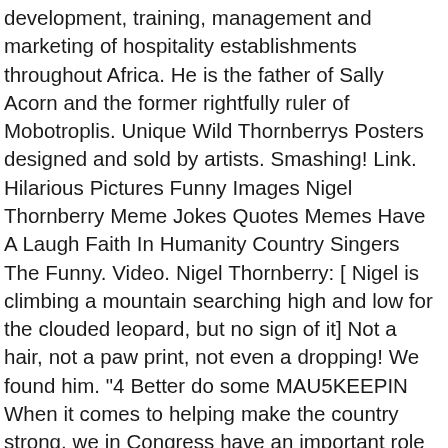development, training, management and marketing of hospitality establishments throughout Africa. He is the father of Sally Acorn and the former rightfully ruler of Mobotroplis. Unique Wild Thornberrys Posters designed and sold by artists. Smashing! Link. Hilarious Pictures Funny Images Nigel Thornberry Meme Jokes Quotes Memes Have A Laugh Faith In Humanity Country Singers The Funny. Video. Nigel Thornberry: [ Nigel is climbing a mountain searching high and low for the clouded leopard, but no sign of it] Not a hair, not a paw print, not even a dropping! We found him. "4 Better do some MAU5KEEPIN When it comes to helping make the country strong, we in Congress have an important role to play. The life of an adventurous family, from the point of view of an eleven-year-old girl gifted with animal language. Quotes Blaaaaraargrgrhhgh., Smashing!, Lord Nelson's trousers, it's a yeti!, Hello, poppet!, NO! The Wild Thornberrysis an American animated television series created by Arlene Klasky, Gabor Csupo, Steve Pepoon, David Silverman, and Stephen Sustarsic, Arlene Klasky being best known for co-creating the popular television series Rugrats, the show has gained quite a bit